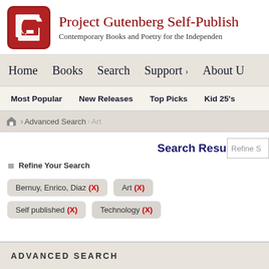[Figure (logo): Project Gutenberg Self-Publishing logo: red rounded square with white G letter mark]
Project Gutenberg Self-Publish
Contemporary Books and Poetry for the Independen
Home  Books  Search  Support  About U
Most Popular  New Releases  Top Picks  Kid 25's
Advanced Search  Art
Search Results (90
Refine Your Search
Bernuy, Enrico, Diaz (X)
Art (X)
Self published (X)
Technology (X)
ADVANCED SEARCH